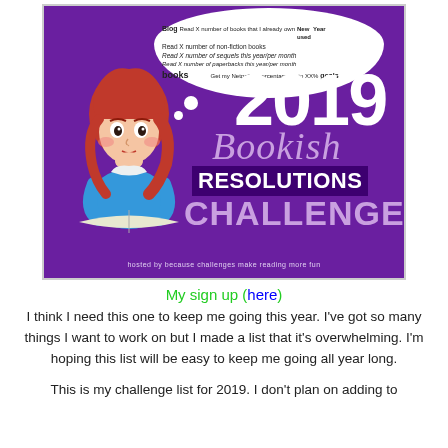[Figure (illustration): 2019 Bookish Resolutions Challenge promotional image on a purple background, featuring a cartoon girl thinking (with a thought bubble listing bookish resolution goals), large '2019' text, 'Bookish' in script, 'RESOLUTIONS' in a dark purple banner, 'CHALLENGE' in large light purple text, and 'hosted by because challenges make reading more fun' at the bottom.]
My sign up (here)
I think I need this one to keep me going this year. I've got so many things I want to work on but I made a list that it's overwhelming. I'm hoping this list will be easy to keep me going all year long.
This is my challenge list for 2019. I don't plan on adding to